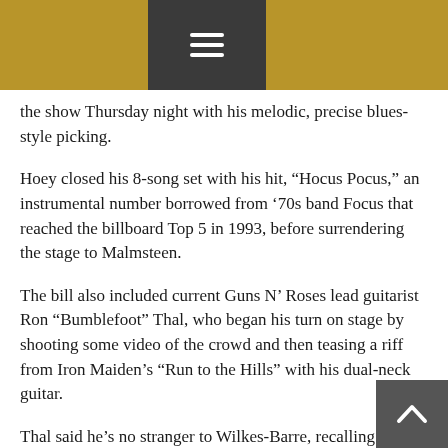the show Thursday night with his melodic, precise blues-style picking.
Hoey closed his 8-song set with his hit, “Hocus Pocus,” an instrumental number borrowed from ’70s band Focus that reached the billboard Top 5 in 1993, before surrendering the stage to Malmsteen.
The bill also included current Guns N’ Roses lead guitarist Ron “Bumblefoot” Thal, who began his turn on stage by shooting some video of the crowd and then teasing a riff from Iron Maiden’s “Run to the Hills” with his dual-neck guitar.
Thal said he’s no stranger to Wilkes-Barre, recalling a Guns N’ Roses at the nearby Mohegan Sun Arena back on Nov. 20, 2011.
Thal showed a wide range in both guitar style and vocal range. His Zappa-influenced playing included elements of punk, blues, jazz and